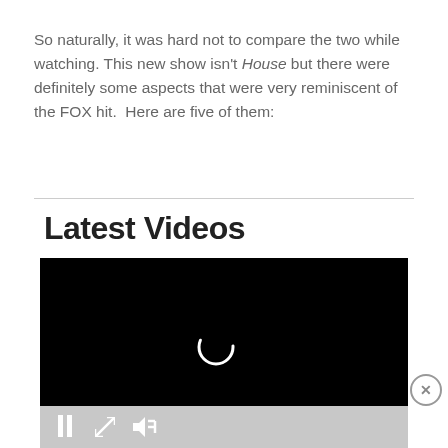So naturally, it was hard not to compare the two while watching. This new show isn't House but there were definitely some aspects that were very reminiscent of the FOX hit.  Here are five of them:
Latest Videos
[Figure (screenshot): Video player with black background showing 'Loading ad' text and a spinning loading indicator, with playback controls (pause, expand, mute) on a gray bar below, and a close (X) button on the right.]